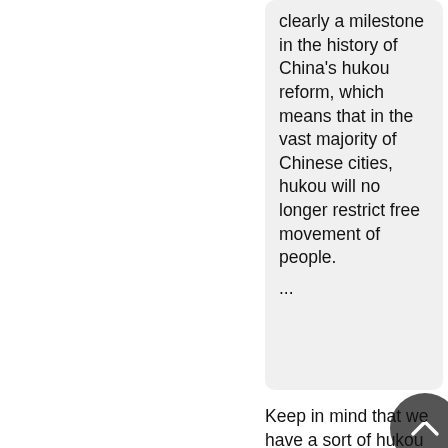clearly a milestone in the history of China's hukou reform, which means that in the vast majority of Chinese cities, hukou will no longer restrict free movement of people.
...
Keep in mind that we have a sort of hukou when it comes to